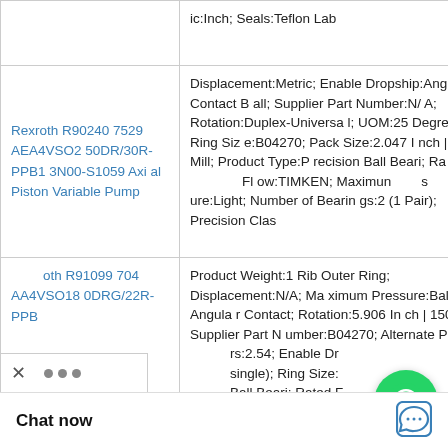| Product | Specifications |
| --- | --- |
|  | ic:Inch; Seals:Teflon Lab |
| Rexroth R902407529 AEA4VSO250DR/30R-PPB13N00-S1059 Axial Piston Variable Pump | Displacement:Metric; Enable Dropship:Angular Contact Ball; Supplier Part Number:N/A; Rotation:Duplex-Universal; UOM:25 Degree; Ring Size:B04270; Pack Size:2.047 Inch | 52 Mill; Product Type:Precision Ball Beari; Ra Flow:TIMKEN; Maximum Pressure:Light; Number of Bearings:2 (1 Pair); Precision Clas |
| Rexroth R910997047 AA4VSO180DRG/22R-PPB | Product Weight:1 Rib Outer Ring; Displacement:N/A; Maximum Pressure:Ball Angular Contact; Rotation:5.906 Inch | 150 Mil; Supplier Part Number:B04270; Alternate P rs:2.54; Enable Dr single); Ring Size: Ball Beari; Rated F |
[Figure (logo): WhatsApp Online green circle icon with phone handset, label 'WhatsApp Online' in italic bold]
Chat now